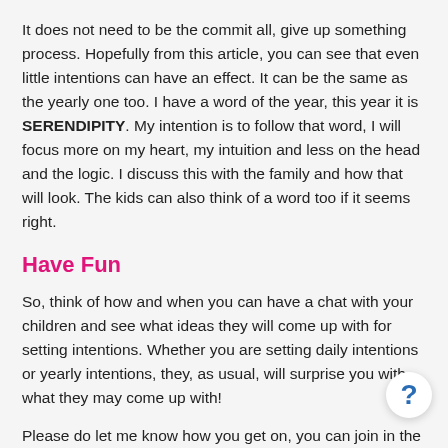It does not need to be the commit all, give up something process. Hopefully from this article, you can see that even little intentions can have an effect. It can be the same as the yearly one too. I have a word of the year, this year it is SERENDIPITY. My intention is to follow that word, I will focus more on my heart, my intuition and less on the head and the logic. I discuss this with the family and how that will look. The kids can also think of a word too if it seems right.
Have Fun
So, think of how and when you can have a chat with your children and see what ideas they will come up with for setting intentions. Whether you are setting daily intentions or yearly intentions, they, as usual, will surprise you with what they may come up with!
Please do let me know how you get on, you can join in the discussions over in the Facebook Group. A closed member